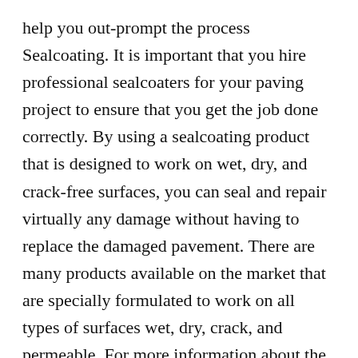help you out-prompt the process Sealcoating. It is important that you hire professional sealcoaters for your paving project to ensure that you get the job done correctly. By using a sealcoating product that is designed to work on wet, dry, and crack-free surfaces, you can seal and repair virtually any damage without having to replace the damaged pavement. There are many products available on the market that are specially formulated to work on all types of surfaces wet, dry, crack, and permeable. For more information about the sealcoating products that are available, contact a commercial paving services company.
Paving contractors are highly qualified professionals to carry out paving jobs for residential and commercial properties. If you would like to learn more about